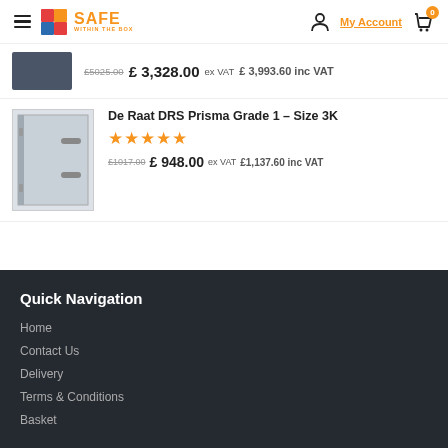Safe Within The Box — My Account — Cart (0)
£5025.00 £ 3,328.00 ex VAT £ 3,993.60 inc VAT
De Raat DRS Prisma Grade 1 – Size 3K
★★★★★
£1017.00 £ 948.00 ex VAT £1,137.60 inc VAT
Quick Navigation
Home
Contact Us
Delivery
Terms & Conditions
Basket